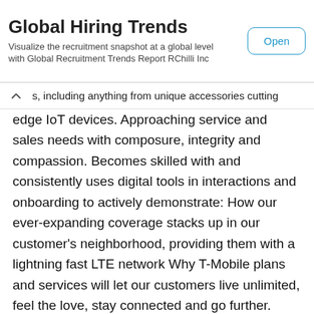[Figure (screenshot): Banner advertisement for 'Global Hiring Trends' with an Open button]
s, including anything from unique accessories cutting edge IoT devices. Approaching service and sales needs with composure, integrity and compassion. Becomes skilled with and consistently uses digital tools in interactions and onboarding to actively demonstrate: How our ever-expanding coverage stacks up in our customer's neighborhood, providing them with a lightning fast LTE network Why T-Mobile plans and services will let our customers live unlimited, feel the love, stay connected and go further. Completes training on T-Mobile in-store experience, new skills and processes, knowledge of systems and reference resources. Makes the most of their time on shift, consistently seeking out information between customers, learning about innovations in wireless and technology. Establishes relationships with and partners with T-Mobile employees across channels, including